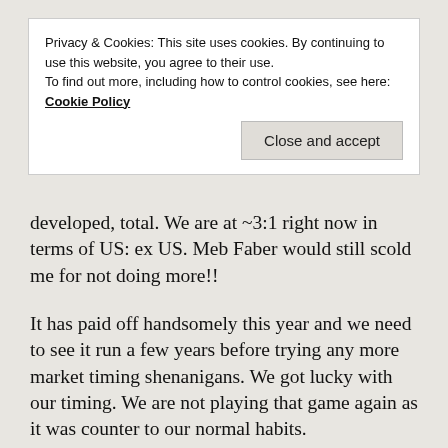Privacy & Cookies: This site uses cookies. By continuing to use this website, you agree to their use. To find out more, including how to control cookies, see here: Cookie Policy
developed, total. We are at ~3:1 right now in terms of US: ex US. Meb Faber would still scold me for not doing more!!
It has paid off handsomely this year and we need to see it run a few years before trying any more market timing shenanigans. We got lucky with our timing. We are not playing that game again as it was counter to our normal habits.
I just did a quick Portfolio Visualizer plot of VTSAX vs VGTSX from Dec 2000 to now. I see your point on diversification with this quick & dirty back test.